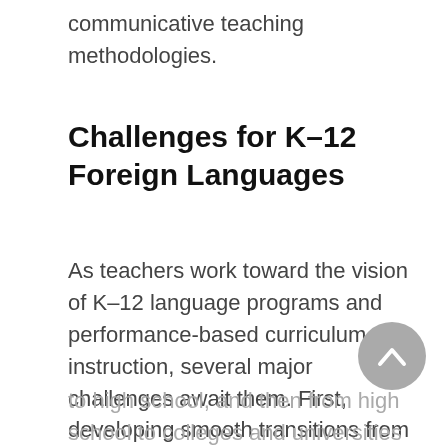communicative teaching methodologies.
Challenges for K–12 Foreign Languages
As teachers work toward the vision of K–12 language programs and performance-based curriculum and instruction, several major challenges await them. First, developing smooth transitions from elementary to middle
to high school, and then from high school to colleges and universities will